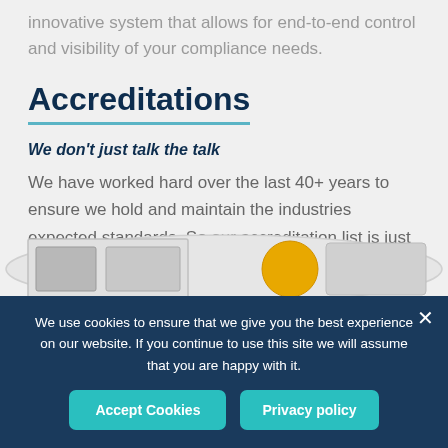innovative system that allows for end-to-end control and visibility of your compliance needs.
Accreditations
We don't just talk the talk
We have worked hard over the last 40+ years to ensure we hold and maintain the industries expected standards. So our accreditation list is just as impressive as our service offering:
[Figure (logo): Accreditation logos area, partially visible at bottom]
We use cookies to ensure that we give you the best experience on our website. If you continue to use this site we will assume that you are happy with it.
Accept Cookies | Privacy policy